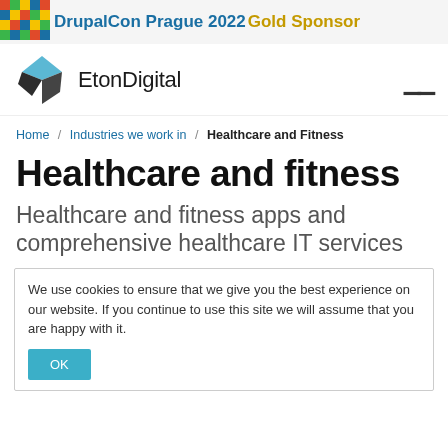DrupalCon Prague 2022 Gold Sponsor
[Figure (logo): EtonDigital logo with blue and dark diamond shapes]
Home / Industries we work in / Healthcare and Fitness
Healthcare and fitness
Healthcare and fitness apps and comprehensive healthcare IT services
We use cookies to ensure that we give you the best experience on our website. If you continue to use this site we will assume that you are happy with it.
OK